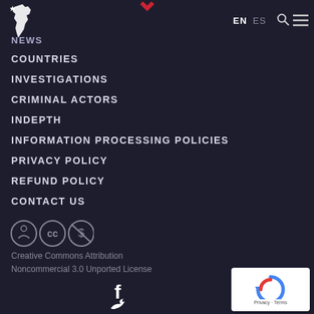[Figure (logo): White Latin America map/logo icon]
EN  ES  [search] [menu]
NEWS
COUNTRIES
INVESTIGATIONS
CRIMINAL ACTORS
INDEPTH
INFORMATION PROCESSING POLICIES
PRIVACY POLICY
REFUND POLICY
CONTACT US
[Figure (logo): Creative Commons BY-NC license icons: person, CC circle, dollar-sign-prohibited circle]
Creative Commons Attribution Noncommercial 3.0 Unported License
[Figure (other): reCAPTCHA widget with Google logo, privacy and terms text]
[Figure (other): Social media icons: Facebook (f) and Twitter bird]